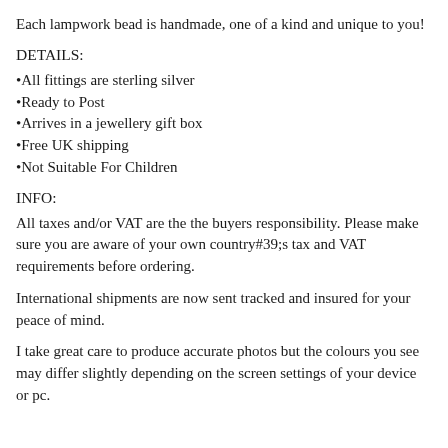Each lampwork bead is handmade, one of a kind and unique to you!
DETAILS:
All fittings are sterling silver
Ready to Post
Arrives in a jewellery gift box
Free UK shipping
Not Suitable For Children
INFO:
All taxes and/or VAT are the the buyers responsibility. Please make sure you are aware of your own country#39;s tax and VAT requirements before ordering.
International shipments are now sent tracked and insured for your peace of mind.
I take great care to produce accurate photos but the colours you see may differ slightly depending on the screen settings of your device or pc.